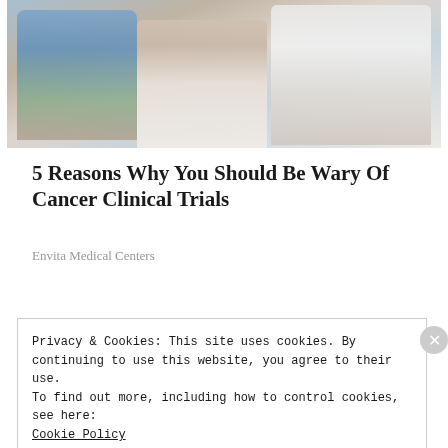[Figure (photo): A patient with a caregiver and a doctor in a clinical setting, reviewing documents together.]
5 Reasons Why You Should Be Wary Of Cancer Clinical Trials
Envita Medical Centers
Privacy & Cookies: This site uses cookies. By continuing to use this website, you agree to their use.
To find out more, including how to control cookies, see here:
Cookie Policy
Close and accept